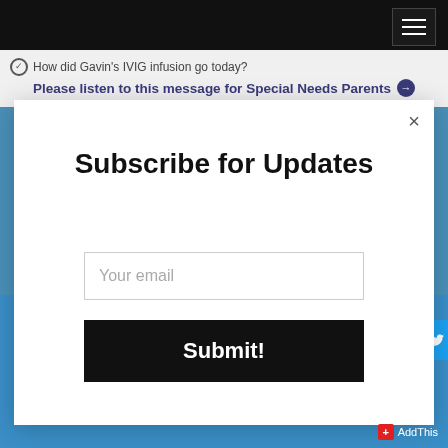[Figure (screenshot): Website screenshot showing a navigation bar at top with hamburger menu icon, a banner row with text about Gavin's IVIG infusion and a message for Special Needs Parents, and a modal popup for subscribing to updates with an email input and Submit button.]
How did Gavin's IVIG infusion go today?
Please listen to this message for Special Needs Parents
Subscribe for Updates
Your email
Submit!
+ AddThis